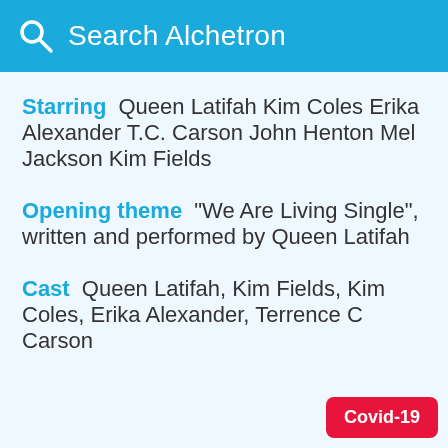Search Alchetron
Starring  Queen Latifah Kim Coles Erika Alexander T.C. Carson John Henton Mel Jackson Kim Fields
Opening theme  "We Are Living Single", written and performed by Queen Latifah
Cast  Queen Latifah, Kim Fields, Kim Coles, Erika Alexander, Terrence C Carson
Covid-19